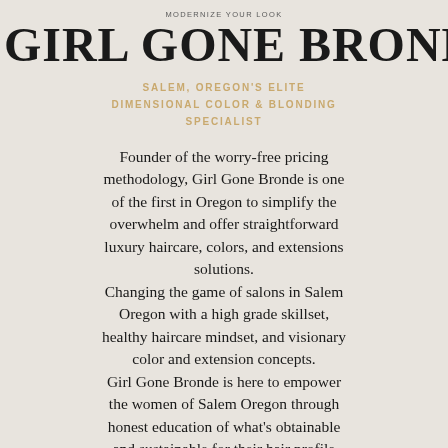MODERNIZE YOUR LOOK
GIRL GONE BRONDE
SALEM, OREGON'S ELITE DIMENSIONAL COLOR & BLONDING SPECIALIST
Founder of the worry-free pricing methodology, Girl Gone Bronde is one of the first in Oregon to simplify the overwhelm and offer straightforward luxury haircare, colors, and extensions solutions. Changing the game of salons in Salem Oregon with a high grade skillset, healthy haircare mindset, and visionary color and extension concepts. Girl Gone Bronde is here to empower the women of Salem Oregon through honest education of what's obtainable and sustainable for their hair profile and lifestyle.